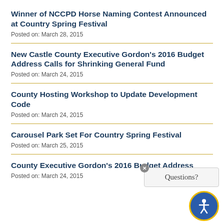Winner of NCCPD Horse Naming Contest Announced at Country Spring Festival
Posted on: March 28, 2015
New Castle County Executive Gordon's 2016 Budget Address Calls for Shrinking General Fund
Posted on: March 24, 2015
County Hosting Workshop to Update Development Code
Posted on: March 24, 2015
Carousel Park Set For Country Spring Festival
Posted on: March 25, 2015
County Executive Gordon's 2016 Budget Address
Posted on: March 24, 2015